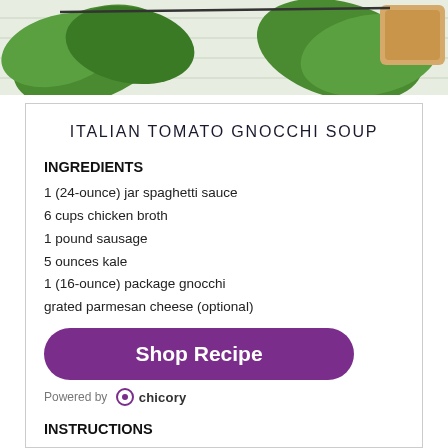[Figure (photo): Photo of kale leaves and bread on a white wooden surface]
ITALIAN TOMATO GNOCCHI SOUP
INGREDIENTS
1 (24-ounce) jar spaghetti sauce
6 cups chicken broth
1 pound sausage
5 ounces kale
1 (16-ounce) package gnocchi
grated parmesan cheese (optional)
Shop Recipe
Powered by  chicory
INSTRUCTIONS